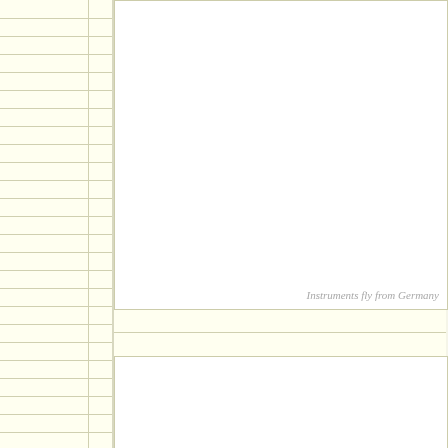[Figure (other): Yellow lined notepad-style left column with horizontal ruled lines and a vertical divider line near the right edge of the column]
[Figure (other): Large white rectangular content area in the upper right portion of the page, mostly empty, with italic gray caption text reading 'Instruments fly from Germany' at the bottom right]
Instruments fly from Germany
[Figure (other): Yellow horizontal strip between two white boxes on the right side, containing a single horizontal ruled line]
[Figure (other): White rectangular content area in the lower right, mostly empty]